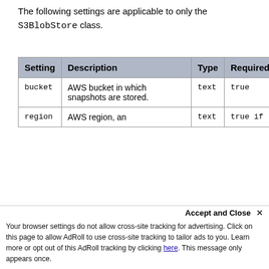The following settings are applicable to only the S3BlobStore class.
| Setting | Description | Type | Required |
| --- | --- | --- | --- |
| bucket | AWS bucket in which snapshots are stored. | text | true |
| region | AWS region, an... | text | true if |